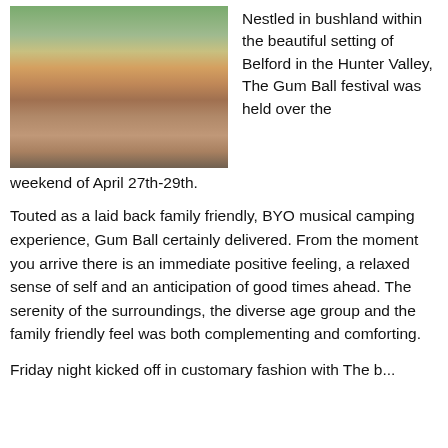[Figure (photo): Outdoor music festival concert photo taken from behind the performer on stage, showing a large crowd gathered in front of a white tent canopy, surrounded by bushland/trees in the background.]
Nestled in bushland within the beautiful setting of Belford in the Hunter Valley, The Gum Ball festival was held over the weekend of April 27th-29th.
Touted as a laid back family friendly, BYO musical camping experience, Gum Ball certainly delivered. From the moment you arrive there is an immediate positive feeling, a relaxed sense of self and an anticipation of good times ahead. The serenity of the surroundings, the diverse age group and the family friendly feel was both complementing and comforting.
Friday night kicked off in customary fashion with The b...